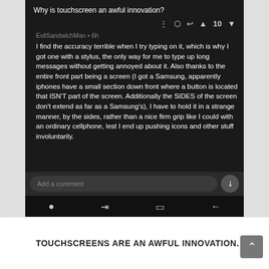[Figure (screenshot): Screenshot of a mobile app comment/discussion thread on a dark background. Title reads 'Why is touchscreen an awful innovation?' with action icons and upvote count of 10. User EvilSandwichMan posted 6h ago with a long comment about accuracy issues with touchscreens, using a stylus, and holding the phone awkwardly. Below is an 'Add a comment' input bar and a mobile navigation bar.]
TOUCHSCREENS ARE AN AWFUL INNOVATION.